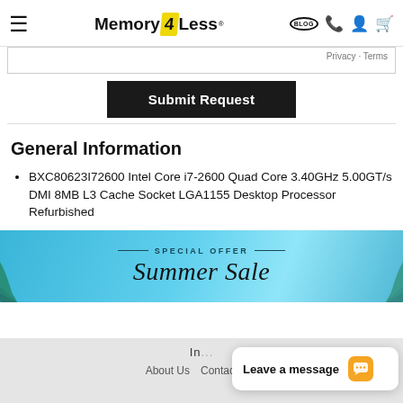Memory4Less — navigation header with hamburger menu, logo, blog, phone, account, cart icons
[Figure (screenshot): Form area showing Privacy · Terms text and a black Submit Request button]
General Information
BXC80623I72600 Intel Core i7-2600 Quad Core 3.40GHz 5.00GT/s DMI 8MB L3 Cache Socket LGA1155 Desktop Processor Refurbished
[Figure (illustration): Summer Sale promotional banner with palm leaf background, reads SPECIAL OFFER Summer Sale]
IN... About Us  Contact U...
[Figure (screenshot): Chat widget popup: Leave a message with orange chat icon]